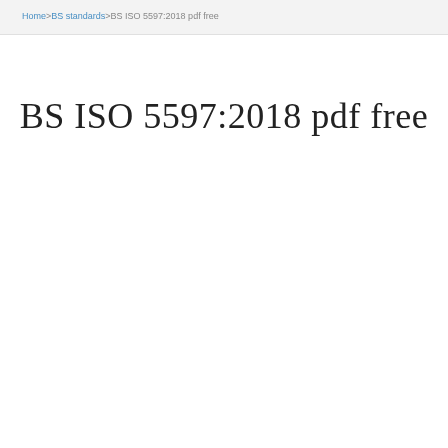Home>BS standards>BS ISO 5597:2018 pdf free
BS ISO 5597:2018 pdf free